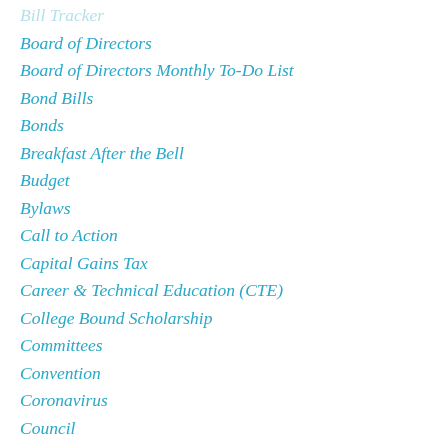Bill Tracker
Board of Directors
Board of Directors Monthly To-Do List
Bond Bills
Bonds
Breakfast After the Bell
Budget
Bylaws
Call to Action
Capital Gains Tax
Career & Technical Education (CTE)
College Bound Scholarship
Committees
Convention
Coronavirus
Council
COVID-19